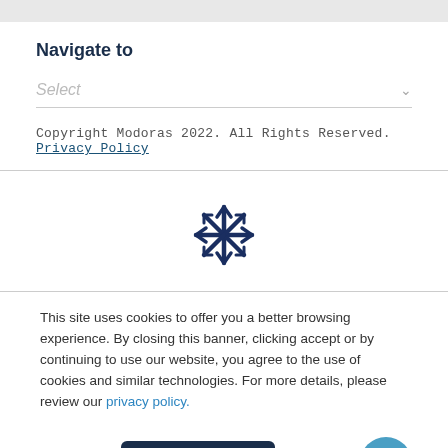Navigate to
Select
Copyright Modoras 2022. All Rights Reserved. Privacy Policy
[Figure (logo): Modoras snowflake/asterisk logo in dark navy blue]
This site uses cookies to offer you a better browsing experience. By closing this banner, clicking accept or by continuing to use our website, you agree to the use of cookies and similar technologies. For more details, please review our privacy policy.
Accept